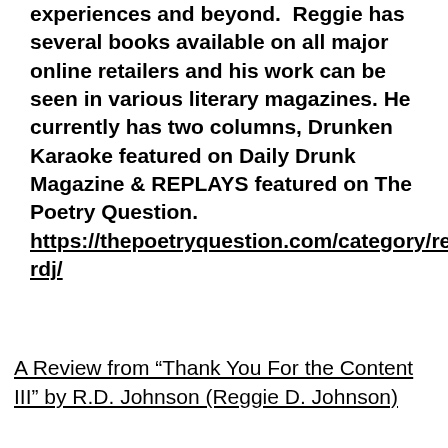experiences and beyond.  Reggie has several books available on all major online retailers and his work can be seen in various literary magazines. He currently has two columns, Drunken Karaoke featured on Daily Drunk Magazine & REPLAYS featured on The Poetry Question. https://thepoetryquestion.com/category/replrdj/
A Review from “Thank You For the Content III” by R.D. Johnson (Reggie D. Johnson)